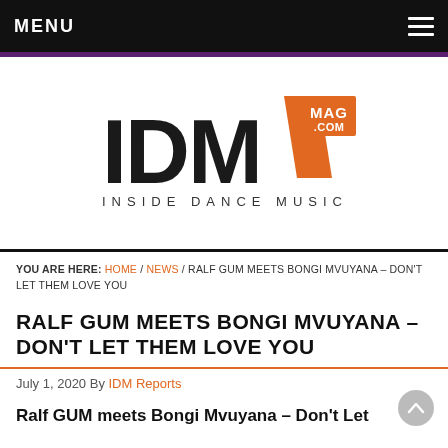MENU
[Figure (logo): IDM MAG .COM – INSIDE DANCE MUSIC logo with orange geometric shape]
YOU ARE HERE: HOME / NEWS / RALF GUM MEETS BONGI MVUYANA – DON'T LET THEM LOVE YOU
RALF GUM MEETS BONGI MVUYANA – DON'T LET THEM LOVE YOU
July 1, 2020 By IDM Reports
Ralf GUM meets Bongi Mvuyana – Don't Let